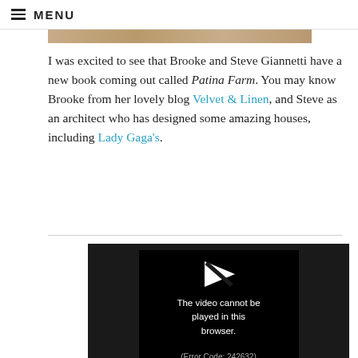MENU
[Figure (photo): Top portion of a photo, showing warm beige/tan tones, partially cropped at top of page]
I was excited to see that Brooke and Steve Giannetti have a new book coming out called Patina Farm. You may know Brooke from her lovely blog Velvet & Linen, and Steve as an architect who has designed some amazing houses, including Lady Gaga's.
[Figure (screenshot): Video player showing error message: 'The video cannot be played in this browser. (Error Code: 242632)']